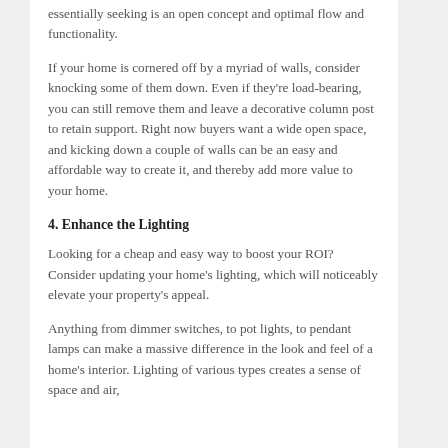essentially seeking is an open concept and optimal flow and functionality.
If your home is cornered off by a myriad of walls, consider knocking some of them down. Even if they're load-bearing, you can still remove them and leave a decorative column post to retain support. Right now buyers want a wide open space, and kicking down a couple of walls can be an easy and affordable way to create it, and thereby add more value to your home.
4. Enhance the Lighting
Looking for a cheap and easy way to boost your ROI? Consider updating your home's lighting, which will noticeably elevate your property's appeal.
Anything from dimmer switches, to pot lights, to pendant lamps can make a massive difference in the look and feel of a home's interior. Lighting of various types creates a sense of space and air,